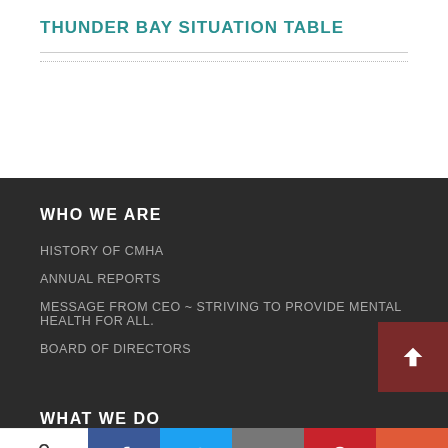THUNDER BAY SITUATION TABLE
WHO WE ARE
HISTORY OF CMHA
ANNUAL REPORTS
MESSAGE FROM CEO ~ STRIVING TO PROVIDE MENTAL HEALTH FOR ALL.
BOARD OF DIRECTORS
WHAT WE DO
0 SHARES